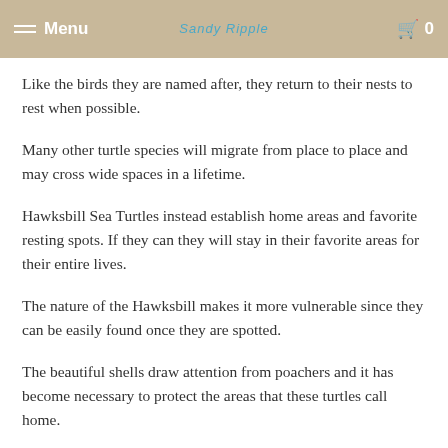Menu | Sandy Ripple | 0
Like the birds they are named after, they return to their nests to rest when possible.
Many other turtle species will migrate from place to place and may cross wide spaces in a lifetime.
Hawksbill Sea Turtles instead establish home areas and favorite resting spots. If they can they will stay in their favorite areas for their entire lives.
The nature of the Hawksbill makes it more vulnerable since they can be easily found once they are spotted.
The beautiful shells draw attention from poachers and it has become necessary to protect the areas that these turtles call home.
The...